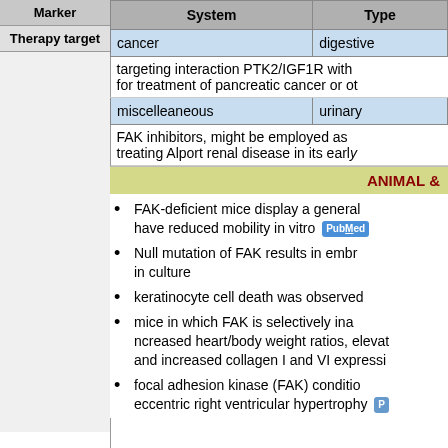| Marker |  | System | Type |
| --- | --- | --- | --- |
| Therapy target |  | cancer | digestive |
|  | targeting interaction PTK2/IGF1R with... for treatment of pancreatic cancer or ot... |  |  |
|  | miscelleaneous | urinary |  |
|  | FAK inhibitors, might be employed as... treating Alport renal disease in its early... |  |  |
ANIMAL &
FAK-deficient mice display a general... have reduced mobility in vitro
Null mutation of FAK results in embr... in culture
keratinocyte cell death was observed
mice in which FAK is selectively ina... ncreased heart/body weight ratios, elevat... and increased collagen I and VI expressi...
focal adhesion kinase (FAK) conditio... eccentric right ventricular hypertrophy